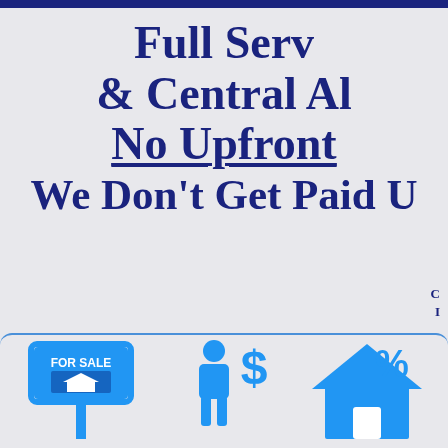Full Serv... & Central Al... No Upfront... We Don't Get Paid U...
[Figure (infographic): Three blue icons in a row at the bottom: a FOR SALE sign/listing board icon, a person with a dollar sign (real estate agent commission) icon, and a house with a percentage sign (mortgage/rate) icon. Contained within a rounded rectangle with blue border.]